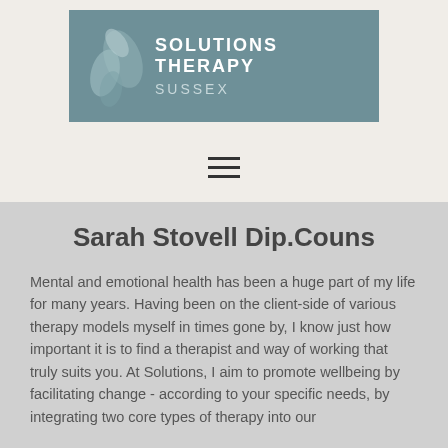[Figure (logo): Solutions Therapy Sussex logo with teal/grey-green background, stylized leaf/plant graphic in muted tones, and white bold text reading SOLUTIONS THERAPY with SUSSEX below in lighter letters]
[Figure (other): Hamburger menu icon (three horizontal lines) on light beige background]
Sarah Stovell Dip.Couns
Mental and emotional health has been a huge part of my life for many years. Having been on the client-side of various therapy models myself in times gone by, I know just how important it is to find a therapist and way of working that truly suits you. At Solutions, I aim to promote wellbeing by facilitating change - according to your specific needs, by integrating two core types of therapy into our